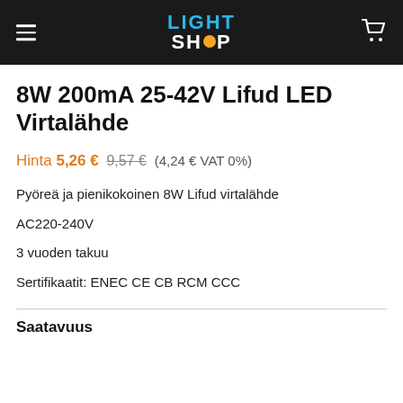LIGHT SHOP
8W 200mA 25-42V Lifud LED Virtalähde
Hinta 5,26 € 9,57 € (4,24 € VAT 0%)
Pyöreä ja pienikokoinen 8W Lifud virtalähde
AC220-240V
3 vuoden takuu
Sertifikaatit: ENEC CE CB RCM CCC
Saatavuus